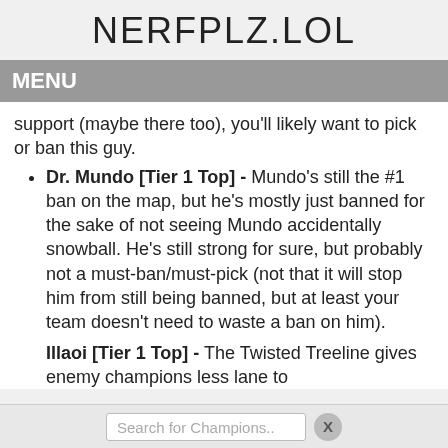NERFPLZ.LOL
MENU
support (maybe there too), you'll likely want to pick or ban this guy.
Dr. Mundo [Tier 1 Top] - Mundo's still the #1 ban on the map, but he's mostly just banned for the sake of not seeing Mundo accidentally snowball. He's still strong for sure, but probably not a must-ban/must-pick (not that it will stop him from still being banned, but at least your team doesn't need to waste a ban on him).
Illaoi [Tier 1 Top] - The Twisted Treeline gives enemy champions less lane to